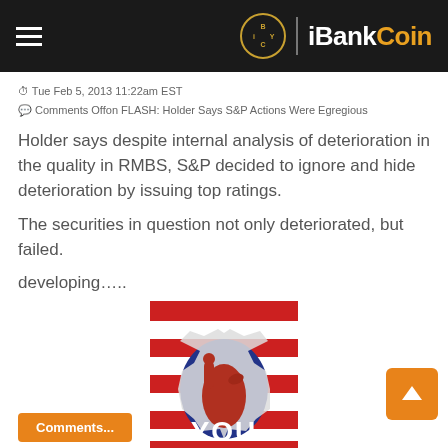iBankCoin
Tue Feb 5, 2013 11:22am EST
Comments Offon FLASH: Holder Says S&P Actions Were Egregious
Holder says despite internal analysis of deterioration in the quality in RMBS, S&P decided to ignore and hide deterioration by issuing top ratings.
The securities in question not only deteriorated, but failed.
developing…..
[Figure (illustration): Uncle Sam style propaganda poster parody with a pointing fist breaking through a red and white striped background, text reading 'YOU ARE AN ASSHAT!']